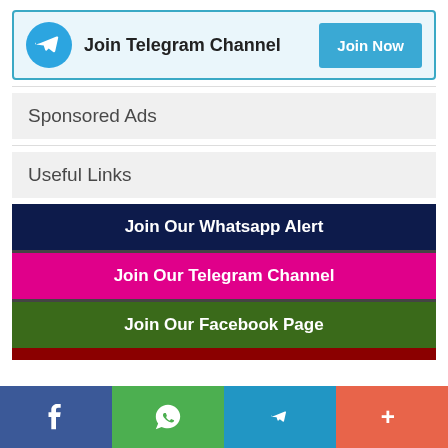[Figure (infographic): Telegram channel promotional banner with Telegram icon, 'Join Telegram Channel' text, and 'Join Now' button]
Sponsored Ads
Useful Links
Join Our Whatsapp Alert
Join Our Telegram Channel
Join Our Facebook Page
[Figure (infographic): Footer social media bar with Facebook, WhatsApp, Telegram, and More (+) buttons]